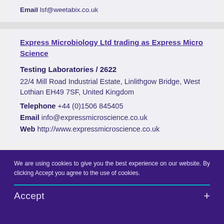Email lsf@weetabix.co.uk
Express Microbiology Ltd trading as Express Micro Science
Testing Laboratories / 2622
22/4 Mill Road Industrial Estate, Linlithgow Bridge, West Lothian EH49 7SF, United Kingdom
Telephone +44 (0)1506 845405
Email info@expressmicroscience.co.uk
Web http://www.expressmicroscience.co.uk
We are using cookies to give you the best experience on our website. By clicking Accept you agree to the use of cookies. Accept +